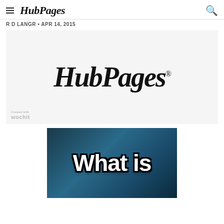HubPages
R D LANGR • APR 14, 2015
[Figure (logo): HubPages logo in large script/italic font on light gray background, with registered trademark symbol, and wochit watermark in bottom left corner]
[Figure (photo): Dark teal/blue background with the text 'What is' in large white bubble letters with black outline]